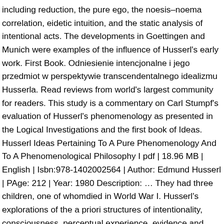including reduction, the pure ego, the noesis–noema correlation, eidetic intuition, and the static analysis of intentional acts. The developments in Goettingen and Munich were examples of the influence of Husserl's early work. First Book. Odniesienie intencjonalne i jego przedmiot w perspektywie transcendentalnego idealizmu Husserla. Read reviews from world's largest community for readers. This study is a commentary on Carl Stumpf's evaluation of Husserl's phenomenology as presented in the Logical Investigations and the first book of Ideas. Husserl Ideas Pertaining To A Pure Phenomenology And To A Phenomenological Philosophy I pdf | 18.96 MB | English | Isbn:978-1402002564 | Author: Edmund Husserl | PAge: 212 | Year: 1980 Description: … They had three children, one of whomdied in World War I. Husserl's explorations of the a priori structures of intentionality, consciousness, perceptual experience, evidence and rationality continue to challenge contemporary philosophers of mind. This document contains reflections generated by